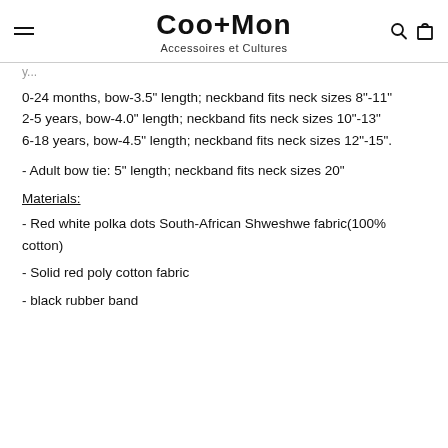Coo+Mon Accessoires et Cultures
0-24 months, bow-3.5" length; neckband fits neck sizes 8"-11"
2-5 years, bow-4.0" length; neckband fits neck sizes 10"-13"
6-18 years, bow-4.5" length; neckband fits neck sizes 12"-15".
- Adult bow tie: 5" length; neckband fits neck sizes 20"
Materials:
- Red white polka dots South-African Shweshwe fabric(100% cotton)
- Solid red poly cotton fabric
- black rubber band